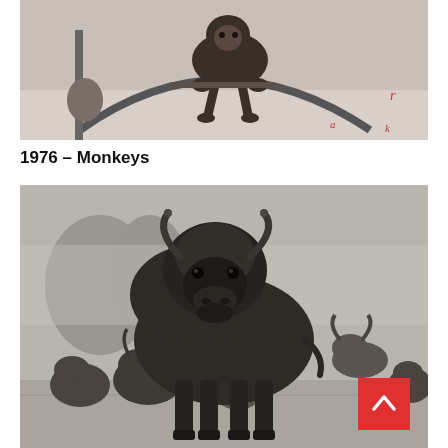[Figure (photo): Black and white photograph of a monkey sitting on a curved metal bar or hoop, with another figure visible in the background on a snowy or light-colored ground.]
1976 – Monkeys
[Figure (photo): Black and white photograph of a herd of bison (buffalo), with a large bison dominating the foreground facing the camera, and several other bison in the background amid bare trees. A red back-to-top button with an upward arrow is overlaid in the bottom-right corner.]